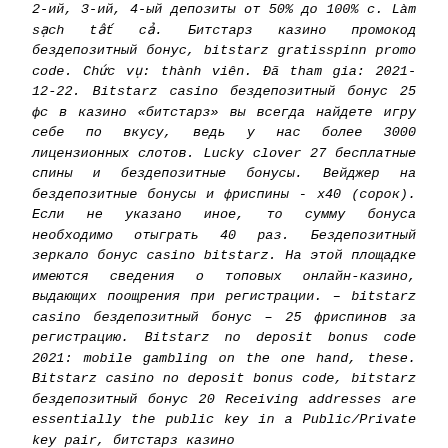2-ий, 3-ий, 4-ый депозиты от 50% до 100% с. Làm sạch tất cả. Битстарз казино промокод бездепозитный бонус, bitstarz gratisspinn promo code. Chức vụ: thành viên. Đã tham gia: 2021-12-22. Bitstarz casino бездепозитный бонус 25 фс в казино «битстарз» вы всегда найдете игру себе по вкусу, ведь у нас более 3000 лицензионных слотов. Lucky clover 27 бесплатные спины и бездепозитные бонусы. Вейджер на бездепозитные бонусы и фриспины - х40 (сорок). Если не указано иное, то сумму бонуса необходимо отыграть 40 раз. Бездепозитный зеркало бонус casino bitstarz. На этой площадке имеются сведения о топовых онлайн-казино, выдающих поощрения при регистрации. – bitstarz casino бездепозитный бонус – 25 фриспинов за регистрацию. Bitstarz no deposit bonus code 2021: mobile gambling on the one hand, these. Bitstarz casino no deposit bonus code, bitstarz бездепозитный бонус 20 Receiving addresses are essentially the public key in a Public/Private key pair, битстарз казино